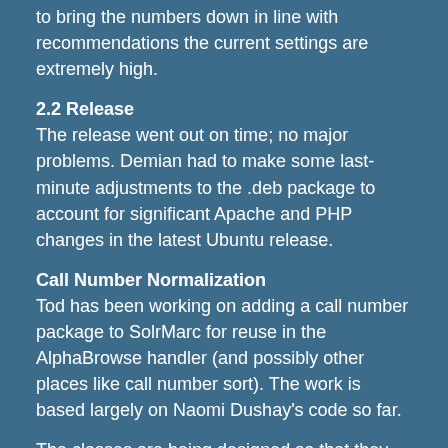to bring the numbers down in line with recommendations the current settings are extremely high.
2.2 Release
The release went out on time; no major problems. Demian had to make some last-minute adjustments to the .deb package to account for significant Apache and PHP changes in the latest Ubuntu release.
Call Number Normalization
Tod has been working on adding a call number package to SolrMarc for reuse in the AlphaBrowse handler (and possibly other places like call number sort). The work is based largely on Naomi Dushay's code so far.
The classes are being designed so that they can be extended for local variations of the standards. Once interfaces are finalized, some further refactoring may be possible to improve efficiencies.
Current challenge: figuring out how to reuse code that is part of SolrMarc, this is a challenge since of the...